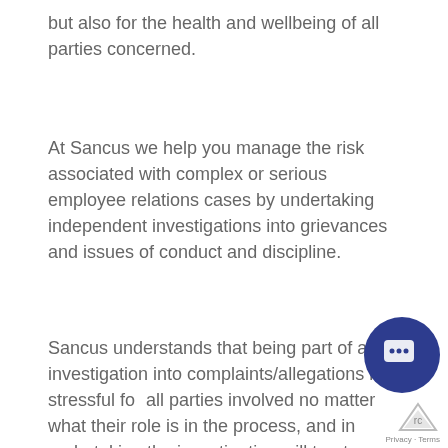but also for the health and wellbeing of all parties concerned.
At Sancus we help you manage the risk associated with complex or serious employee relations cases by undertaking independent investigations into grievances and issues of conduct and discipline.
Sancus understands that being part of an investigation into complaints/allegations is stressful for all parties involved no matter what their role is in the process, and in undertaking the investigation will treat